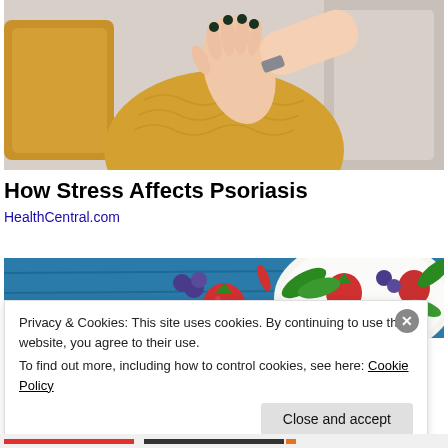[Figure (photo): Person in yellow knit sweater scratching or holding their forearm, sitting on a couch with yellow pillows]
How Stress Affects Psoriasis
HealthCentral.com
[Figure (photo): Plate of fresh salad with strawberries, blueberries, and green herbs on a blue wooden table]
Privacy & Cookies: This site uses cookies. By continuing to use this website, you agree to their use.
To find out more, including how to control cookies, see here: Cookie Policy
Close and accept